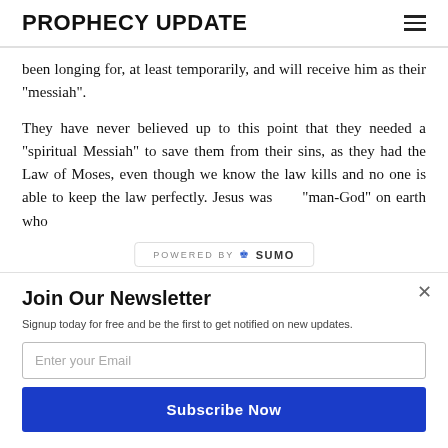PROPHECY UPDATE
been longing for, at least temporarily, and will receive him as their "messiah".
They have never believed up to this point that they needed a "spiritual Messiah" to save them from their sins, as they had the Law of Moses, even though we know the law kills and no one is able to keep the law perfectly. Jesus was the only "man-God" on earth who
Join Our Newsletter
Signup today for free and be the first to get notified on new updates.
Enter your Email
Subscribe Now